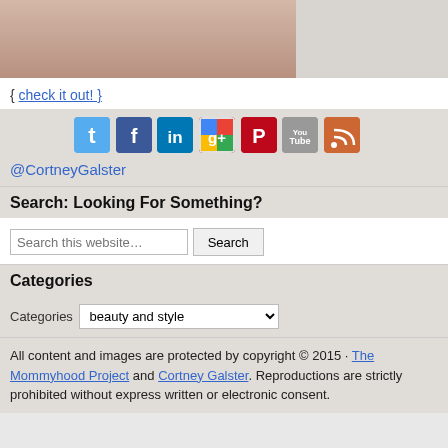[Figure (photo): Partial photo at top of page showing blurred background, split with left colored portion and right gray portion]
{ check it out! }
[Figure (infographic): Row of social media icons: Twitter, Facebook, LinkedIn, Google+, Pinterest, YouTube, RSS]
@CortneyGalster
Search: Looking For Something?
Search this website…  [Search button]
Categories
Categories  beauty and style (dropdown)
All content and images are protected by copyright © 2015 · The Mommyhood Project and Cortney Galster. Reproductions are strictly prohibited without express written or electronic consent.